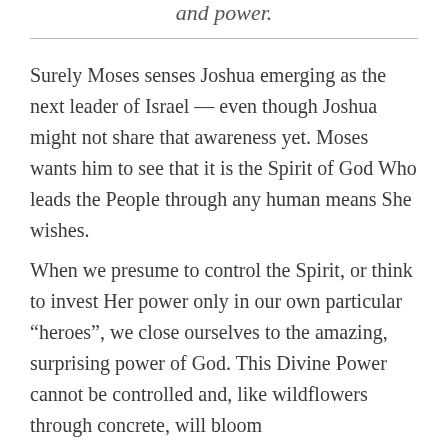and power.
Surely Moses senses Joshua emerging as the next leader of Israel — even though Joshua might not share that awareness yet. Moses wants him to see that it is the Spirit of God Who leads the People through any human means She wishes.
When we presume to control the Spirit, or think to invest Her power only in our own particular “heroes”, we close ourselves to the amazing, surprising power of God. This Divine Power cannot be controlled and, like wildflowers through concrete, will bloom